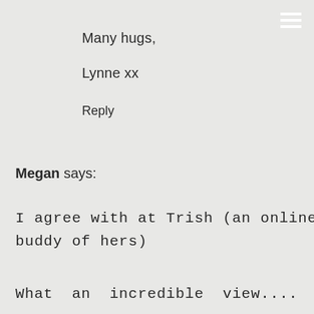Many hugs,
Lynne xx
Reply
Megan says:
I agree with at Trish (an online buddy of hers)
What an incredible view.... I